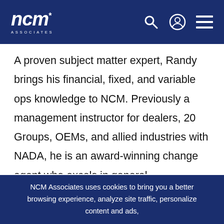[Figure (logo): NCM Associates logo with stylized italic NCM text and star mark, with ASSOCIATES lettering below, in white on dark blue header background]
A proven subject matter expert, Randy brings his financial, fixed, and variable ops knowledge to NCM. Previously a management instructor for dealers, 20 Groups, OEMs, and allied industries with NADA, he is an award-winning change agent who excels in general management of resources. Randy also specializes in the execution of plans in all phases of operations, sales, and administration with a focus on
NCM Associates uses cookies to bring you a better browsing experience, analyze site traffic, personalize content and ads,